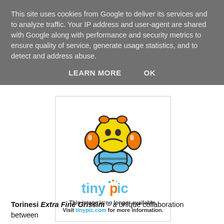This site uses cookies from Google to deliver its services and to analyze traffic. Your IP address and user-agent are shared with Google along with performance and security metrics to ensure quality of service, generate usage statistics, and to detect and address abuse.
LEARN MORE   OK
[Figure (illustration): Tinypic robot mascot (sad yellow robot character with orange arms and blue feet) with 'tinypic' logo text and message: 'This image is no longer available. Visit tinypic.com for more information.']
Torinesi Extra Fine Grissini – a unique collaboration between